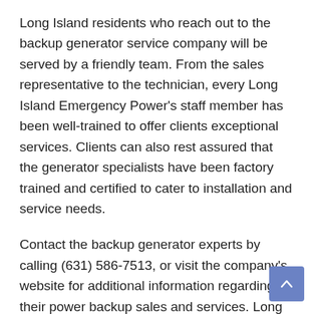Long Island residents who reach out to the backup generator service company will be served by a friendly team. From the sales representative to the technician, every Long Island Emergency Power's staff member has been well-trained to offer clients exceptional services. Clients can also rest assured that the generator specialists have been factory trained and certified to cater to installation and service needs.
Contact the backup generator experts by calling (631) 586-7513, or visit the company's website for additional information regarding their power backup sales and services. Long Island Emergency Power is located at 2 Ocean